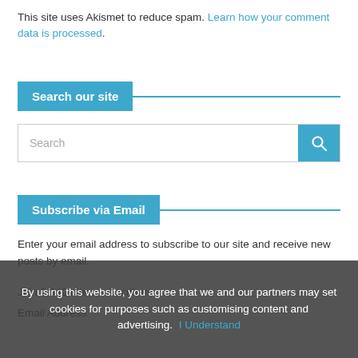This site uses Akismet to reduce spam. Learn how your comment data is processed.
Search our site
[Figure (other): Search input box with teal search button containing magnifying glass icon]
Subscribe via Email
Enter your email address to subscribe to our site and receive new posts by email.
Join 2,040 other subscribers.
Email Address
By using this website, you agree that we and our partners may set cookies for purposes such as customising content and advertising.  I Understand